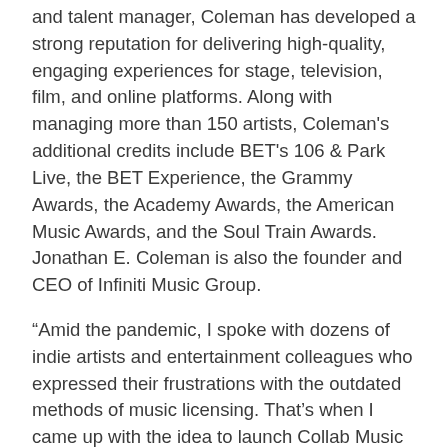and talent manager, Coleman has developed a strong reputation for delivering high-quality, engaging experiences for stage, television, film, and online platforms. Along with managing more than 150 artists, Coleman's additional credits include BET's 106 & Park Live, the BET Experience, the Grammy Awards, the Academy Awards, the American Music Awards, and the Soul Train Awards. Jonathan E. Coleman is also the founder and CEO of Infiniti Music Group.
“Amid the pandemic, I spoke with dozens of indie artists and entertainment colleagues who expressed their frustrations with the outdated methods of music licensing. That’s when I came up with the idea to launch Collab Music Licensing and provide a service that meets the needs of industry leaders and independent content creators alike,” Coleman said.
About Collab Music Licensing
Collab Music Licensing (CML) is a global music licensing platform facilitating your content agency...